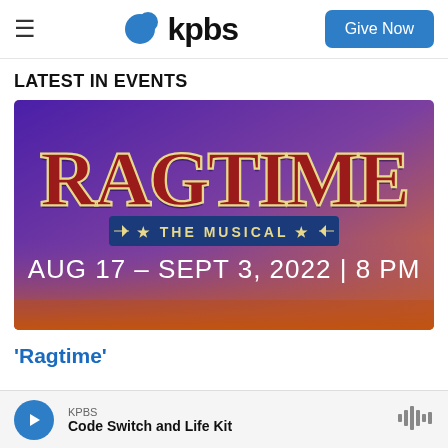kpbs | Give Now
LATEST IN EVENTS
[Figure (illustration): Ragtime The Musical promotional image. Purple to orange gradient background with the large decorative logo text 'RAGTIME THE MUSICAL' and dates 'AUG 17 – SEPT 3, 2022 | 8 PM']
'Ragtime'
KPBS | Code Switch and Life Kit